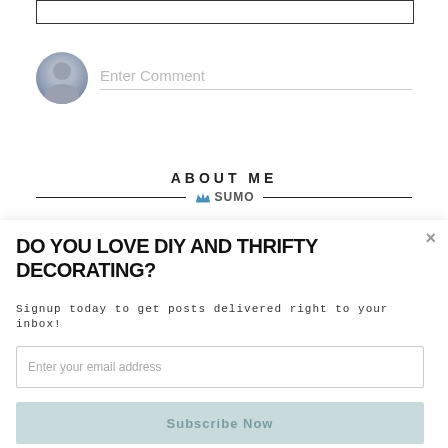[Figure (screenshot): Comment input box at top of page, partially visible]
[Figure (screenshot): Avatar icon (grey person silhouette) with Enter Comment placeholder text and underline]
ABOUT ME
[Figure (logo): Sumo logo with crown icon and SUMO text, centered between two horizontal lines]
DO YOU LOVE DIY AND THRIFTY DECORATING?
Signup today to get posts delivered right to your inbox!
[Figure (screenshot): Email address input field with placeholder 'Enter your email address']
[Figure (screenshot): Subscribe Now button in light teal/blue color]